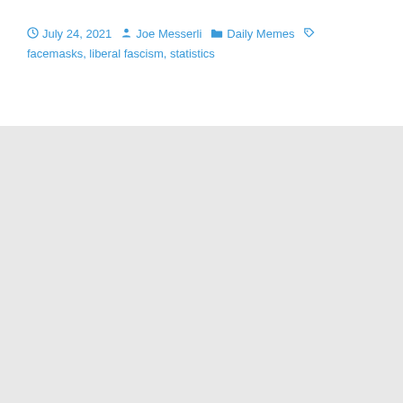July 24, 2021   Joe Messerli   Daily Memes   facemasks, liberal fascism, statistics
[Figure (other): Large light grey blank/empty area occupying the lower two-thirds of the page]